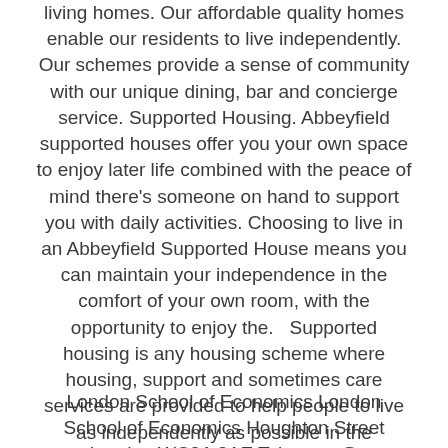living homes. Our affordable quality homes enable our residents to live independently. Our schemes provide a sense of community with our unique dining, bar and concierge service. Supported Housing. Abbeyfield supported houses offer you your own space to enjoy later life combined with the peace of mind there's someone on hand to support you with daily activities. Choosing to live in an Abbeyfield Supported House means you can maintain your independence in the comfort of your own room, with the opportunity to enjoy the.   Supported housing is any housing scheme where housing, support and sometimes care services are provided to help people to live as independently as possible in the community.
London School of Economics London School of Economics Houghton Street London WC2A 2AE Tel: pssru@ PROJECTED DEMAND FOR SUPPORTED